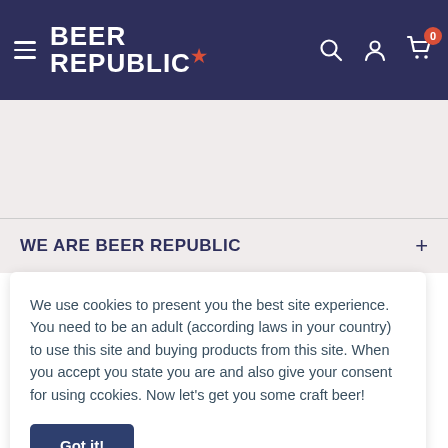Beer Republic — navigation bar with logo, hamburger menu, search, account, and cart icons
WE ARE BEER REPUBLIC +
We use cookies to present you the best site experience. You need to be an adult (according laws in your country) to use this site and buying products from this site. When you accept you state you are and also give your consent for using cookies. Now let's get you some craft beer!
Got it!
BEER MINE